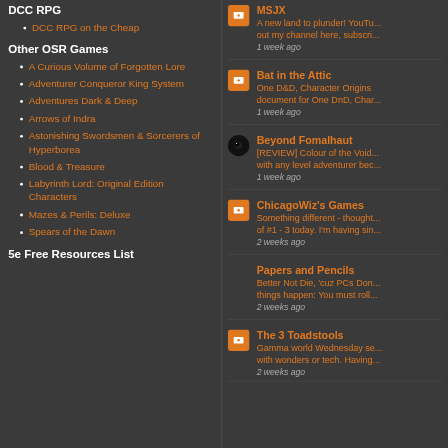DCC RPG
DCC RPG on the Cheap
Other OSR Games
A Curious Volume of Forgotten Lore
Adventurer Conqueror King System
Adventures Dark & Deep
Arrows of Indra
Astonishing Swordsmen & Sorcerers of Hyperborea
Blood & Treasure
Labyrinth Lord: Original Edition Characters
Mazes & Perils: Deluxe
Spears of the Dawn
5e Free Resources List
MSJX
A new land to plunder! YouTu... out my channel here, subscri...
1 week ago
Bat in the Attic
One D&D, Character Origins document for One DnD, Char...
1 week ago
Beyond Fomalhaut
[REVIEW] Colour of the Void... with any level adventurer bec...
1 week ago
ChicagoWiz's Games
Something different - thought... of #1 - 3 today. I'm having sin...
2 weeks ago
Papers and Pencils
Better Not Die, 'cuz PCs Don... things happen: You must roll...
2 weeks ago
The 3 Toadstools
Gamma world Wednesday se... with wonders or tech. Having...
2 weeks ago